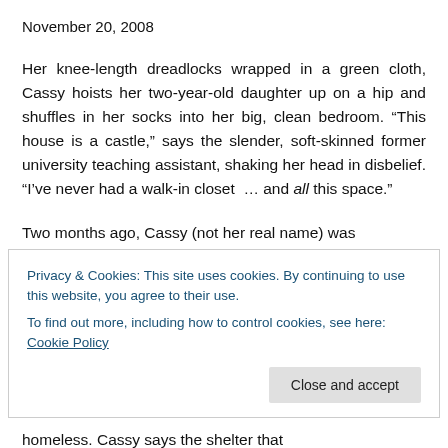November 20, 2008
Her knee-length dreadlocks wrapped in a green cloth, Cassy hoists her two-year-old daughter up on a hip and shuffles in her socks into her big, clean bedroom. “This house is a castle,” says the slender, soft-skinned former university teaching assistant, shaking her head in disbelief. “I’ve never had a walk-in closet … and all this space.”
Two months ago, Cassy (not her real name) was
Privacy & Cookies: This site uses cookies. By continuing to use this website, you agree to their use.
To find out more, including how to control cookies, see here: Cookie Policy
Close and accept
homeless. Cassy says the shelter that ...